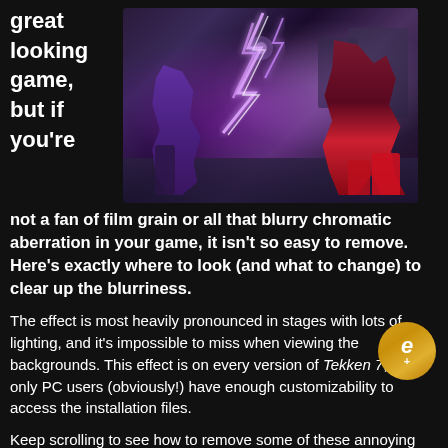great looking game,
[Figure (screenshot): Screenshot from Tekken 7 video game showing two fighters with purple lightning effects on a dark stage background]
but if you're not a fan of film grain or all that blurry chromatic aberration in your game, it isn't so easy to remove. Here's exactly where to look (and what to change) to clear up the blurriness.
The effect is most heavily pronounced in stages with lots of lighting, and it's impossible to miss when viewing the backgrounds. This effect is on every version of Tekken 7, but only PC users (obviously!) have enough customizability to access the installation files.
Keep scrolling to see how to remove some of these annoying effects.